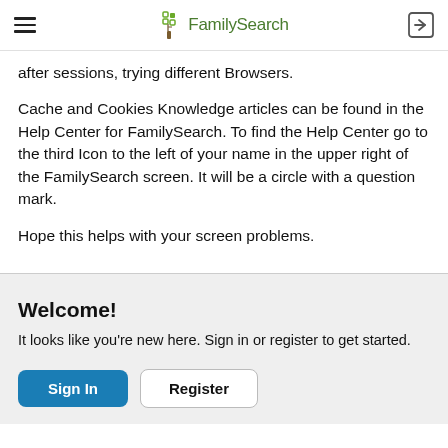FamilySearch
after sessions, trying different Browsers.
Cache and Cookies Knowledge articles can be found in the Help Center for FamilySearch. To find the Help Center go to the third Icon to the left of your name in the upper right of the FamilySearch screen. It will be a circle with a question mark.
Hope this helps with your screen problems.
Welcome!
It looks like you're new here. Sign in or register to get started.
Sign In   Register